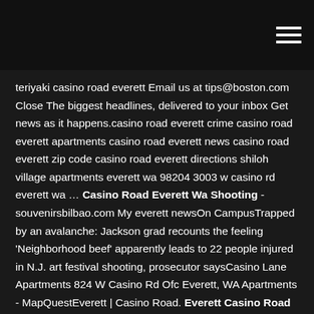hamburger menu icon
teriyaki casino road everett Email us at tips@boston.com Close The biggest headlines, delivered to your inbox Get news as it happens.casino road everett crime casino road everett apartments casino road everett news casino road everett zip code casino road everett directions shiloh village apartments everett wa 98204 3003 w casino rd everett wa … Casino Road Everett Wa Shooting - souvenirsbilbao.com My everett newsOn CampusTrapped by an avalanche: Jackson grad recounts the feeling 'Neighborhood beef' apparently leads to 22 people injured in N.J. art festival shooting, prosecutor saysCasino Lane Apartments 824 W Casino Rd Ofc Everett, WA Apartments - MapQuestEverett | Casino Road. Everett Casino Road Shooting - Online Gambling Legal Florida Everett casino